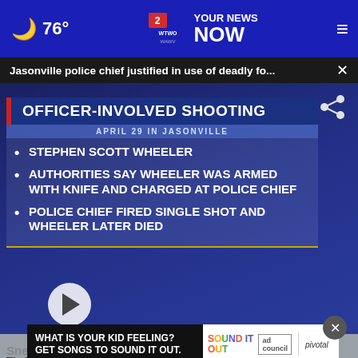76° WTWO WAWV YOUR NEWS NOW
Jasonville police chief justified in use of deadly fo... ×
[Figure (screenshot): TV news broadcast screenshot showing 'OFFICER-INVOLVED SHOOTING' graphic. Bullet points: APRIL 29 IN JASONVILLE; STEPHEN SCOTT WHEELER; AUTHORITIES SAY WHEELER WAS ARMED WITH KNIFE AND CHARGED AT POLICE CHIEF; POLICE CHIEF FIRED SINGLE SHOT AND WHEELER LATER DIED. Bottom ticker: ...FEET THANKS TO A $73,000 GRANT FUNDED BY THE UNION HEALTH FOUNDATION... YOUR NEWS NOW. Channel bug: WTWO 6:02 76°]
WHAT IS YOUR KID FEELING? GET SONGS TO SOUND IT OUT. | SOUND IT OUT | ad council | pivotal
Sne... Their Old Root Replaced